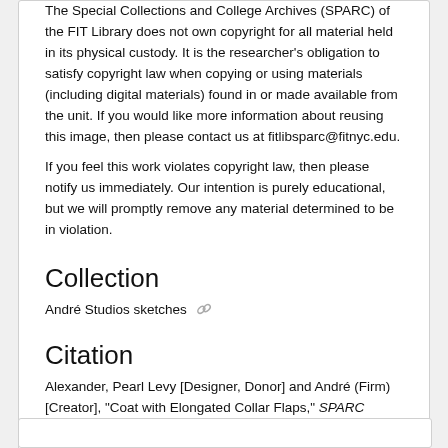The Special Collections and College Archives (SPARC) of the FIT Library does not own copyright for all material held in its physical custody. It is the researcher's obligation to satisfy copyright law when copying or using materials (including digital materials) found in or made available from the unit. If you would like more information about reusing this image, then please contact us at fitlibsparc@fitnyc.edu.
If you feel this work violates copyright law, then please notify us immediately. Our intention is purely educational, but we will promptly remove any material determined to be in violation.
Collection
André Studios sketches
Citation
Alexander, Pearl Levy [Designer, Donor] and André (Firm) [Creator], "Coat with Elongated Collar Flaps," SPARC Digital, accessed August 24, 2022, https://sparcdigital.fitnyc.edu/items/show/4057.